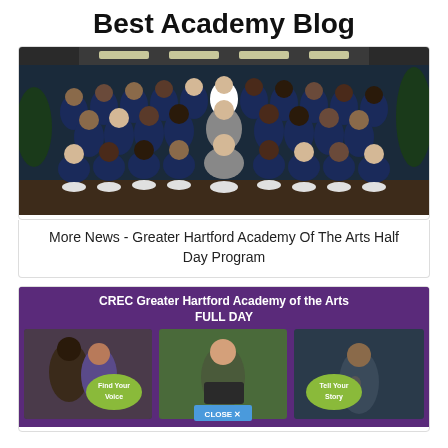Best Academy Blog
[Figure (photo): Group photo of many students in navy blue uniforms/tracksuits posed together indoors under ceiling lights]
More News - Greater Hartford Academy Of The Arts Half Day Program
[Figure (photo): CREC Greater Hartford Academy of the Arts FULL DAY promotional image with three student photos showing 'Find Your Voice' and 'Tell Your Story' overlays and a CLOSE X button]